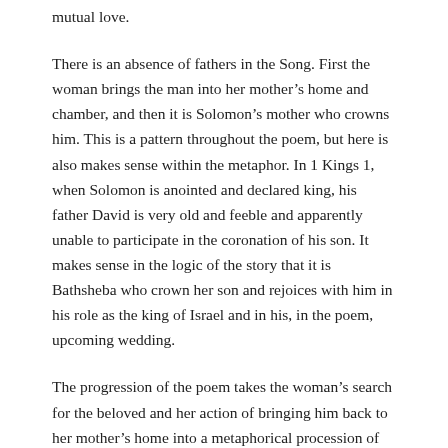mutual love.
There is an absence of fathers in the Song. First the woman brings the man into her mother’s home and chamber, and then it is Solomon’s mother who crowns him. This is a pattern throughout the poem, but here is also makes sense within the metaphor. In 1 Kings 1, when Solomon is anointed and declared king, his father David is very old and feeble and apparently unable to participate in the coronation of his son. It makes sense in the logic of the story that it is Bathsheba who crown her son and rejoices with him in his role as the king of Israel and in his, in the poem, upcoming wedding.
The progression of the poem takes the woman’s search for the beloved and her action of bringing him back to her mother’s home into a metaphorical procession of Solomon departing his father’s house with his mother to come to a place where he can celebrate his love for this woman. The man is both the one whom she loves with all her being and